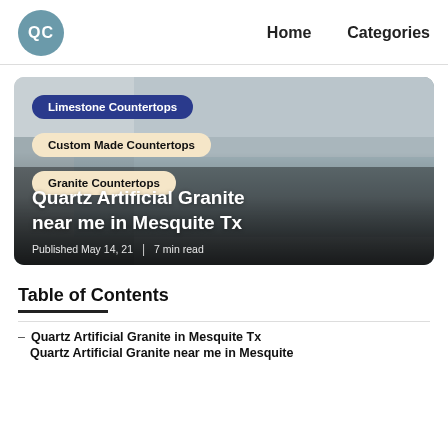QC   Home   Categories
[Figure (photo): Kitchen countertop photo with tags: Limestone Countertops, Custom Made Countertops, Granite Countertops overlaid. Title: Quartz Artificial Granite near me in Mesquite Tx. Published May 14, 21 | 7 min read]
Table of Contents
– Quartz Artificial Granite in Mesquite Tx
Quartz Artificial Granite near me in Mesquite